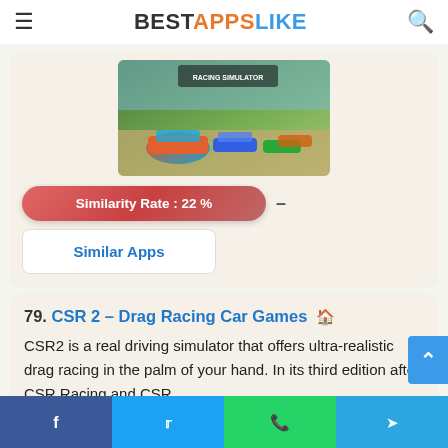BESTAPPSLIKE
[Figure (screenshot): Racing game screenshot showing multiple colorful rally cars on a dirt road with trees in background]
Similarity Rate : 22 %
Similar Apps
79. CSR 2 – Drag Racing Car Games
CSR2 is a real driving simulator that offers ultra-realistic drag racing in the palm of your hand. In its third edition after CSR Racing and CSR